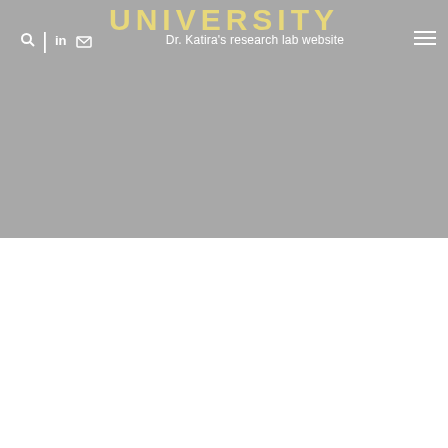UNIVERSITY
Dr. Katira's research lab website
[Figure (screenshot): University research lab website header with grey background, navigation bar with search icon, LinkedIn icon, mail icon, site subtitle 'Dr. Katira's research lab website', and hamburger menu icon. Large yellow/gold 'UNIVERSITY' text at top.]